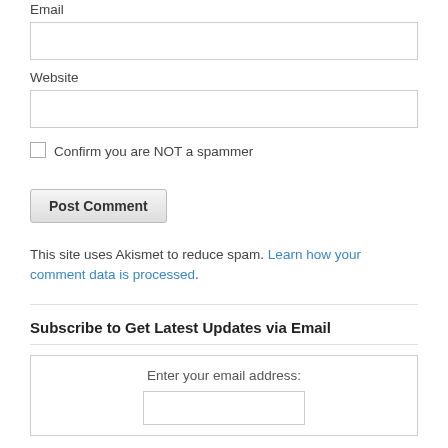Email
[Figure (other): Email input text field (empty)]
Website
[Figure (other): Website input text field (empty)]
Confirm you are NOT a spammer
[Figure (other): Post Comment button]
This site uses Akismet to reduce spam. Learn how your comment data is processed.
Subscribe to Get Latest Updates via Email
Enter your email address:
[Figure (other): Email address subscription input field (empty)]